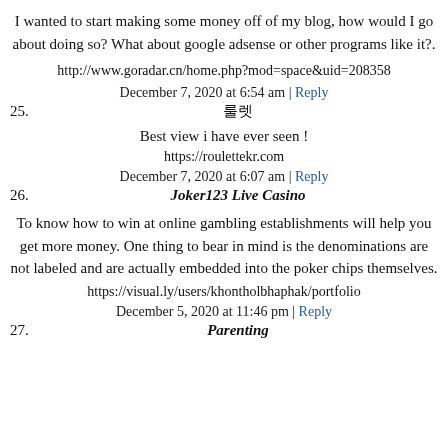I wanted to start making some money off of my blog, how would I go about doing so? What about google adsense or other programs like it?.
http://www.goradar.cn/home.php?mod=space&uid=208358
December 7, 2020 at 6:54 am | Reply
25. 룰렛
Best view i have ever seen !
https://roulettekr.com
December 7, 2020 at 6:07 am | Reply
26. Joker123 Live Casino
To know how to win at online gambling establishments will help you get more money. One thing to bear in mind is the denominations are not labeled and are actually embedded into the poker chips themselves.
https://visual.ly/users/khontholbhaphak/portfolio
December 5, 2020 at 11:46 pm | Reply
27. Parenting